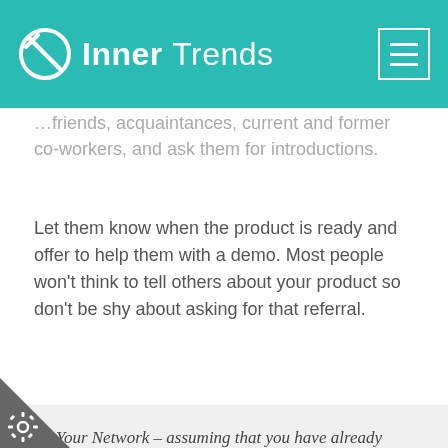Inner Trends
…friends, acquaintances, current and former co-workers, and ask them for introductions.
Let them know when the product is ready and offer to help them with a demo. Most people won't think to tell others about your product so don't be shy about asking for that referral.
Your Network – assuming that you have already spoken with relevant business people, those who could be potential customers, connect back with them. Tell them your product is ready and offer them help with a